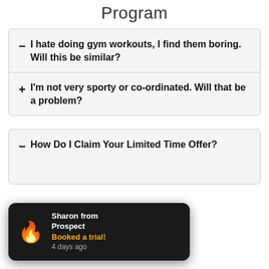Program
− I hate doing gym workouts, I find them boring. Will this be similar?
+ I'm not very sporty or co-ordinated. Will that be a problem?
− How Do I Claim Your Limited Time Offer?
Sharon from Prospect
Booked a trial!
4 days ago